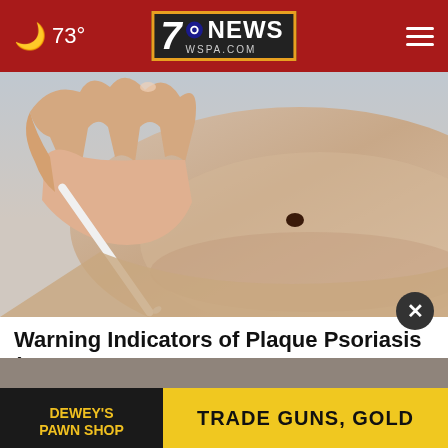7NEWS WSPA.COM — 73°
[Figure (photo): Close-up of a hand using a pen or tool to examine a dark mole on skin, medical dermatology context]
Warning Indicators of Plaque Psoriasis (Don't Ignore Them)
[Plaque Psoriasis sponsored content]
[Figure (screenshot): Advertisement banner: DEWEY'S PAWN SHOP — TRADE GUNS, GOLD]
[Figure (photo): Bottom teaser image, partially visible]